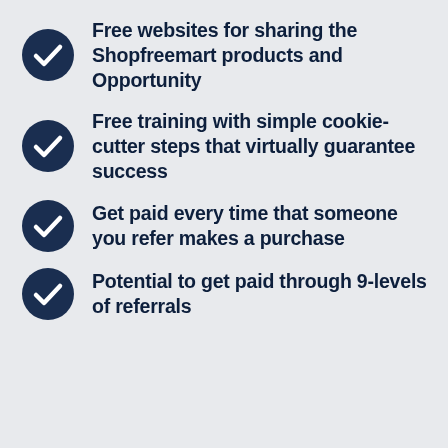Free websites for sharing the Shopfreemart products and Opportunity
Free training with simple cookie-cutter steps that virtually guarantee success
Get paid every time that someone you refer makes a purchase
Potential to get paid through 9-levels of referrals